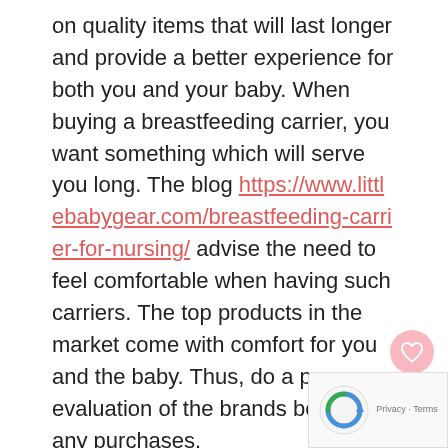on quality items that will last longer and provide a better experience for both you and your baby. When buying a breastfeeding carrier, you want something which will serve you long. The blog https://www.littlebabygear.com/breastfeeding-carrier-for-nursing/ advise the need to feel comfortable when having such carriers. The top products in the market come with comfort for you and the baby. Thus, do a proper evaluation of the brands before any purchases.
Shop Online
There are many great online resources for finding the right baby gear. Sites like Craigslist, eBay, and